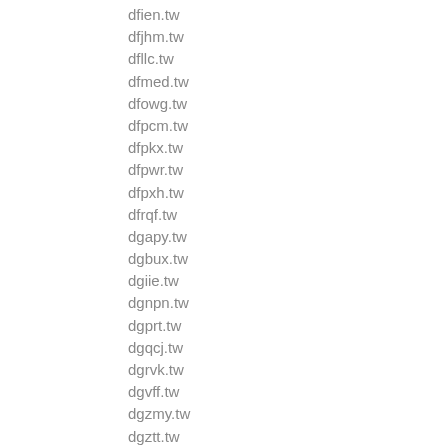dfien.tw
dfjhm.tw
dfllc.tw
dfmed.tw
dfowg.tw
dfpcm.tw
dfpkx.tw
dfpwr.tw
dfpxh.tw
dfrqf.tw
dgapy.tw
dgbux.tw
dgiie.tw
dgnpn.tw
dgprt.tw
dgqcj.tw
dgrvk.tw
dgvff.tw
dgzmy.tw
dgztt.tw
dgzus.tw
dhchm.tw
dhdup.tw
dhept.tw
dhesc.tw